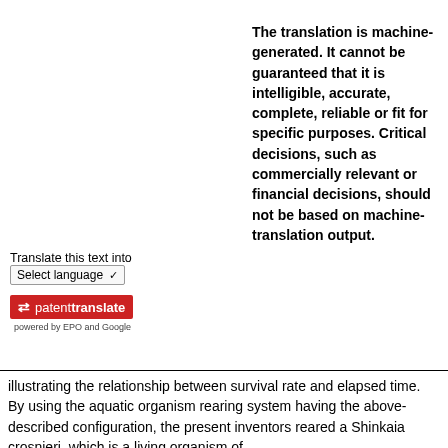The translation is machine-generated. It cannot be guaranteed that it is intelligible, accurate, complete, reliable or fit for specific purposes. Critical decisions, such as commercially relevant or financial decisions, should not be based on machine-translation output.
Translate this text into  Select language
[Figure (logo): patenttranslate logo — red background with white text and arrow icon, powered by EPO and Google]
illustrating the relationship between survival rate and elapsed time.
By using the aquatic organism rearing system having the above-described configuration, the present inventors reared a Shinkaia crosnieri, which is a living organism of